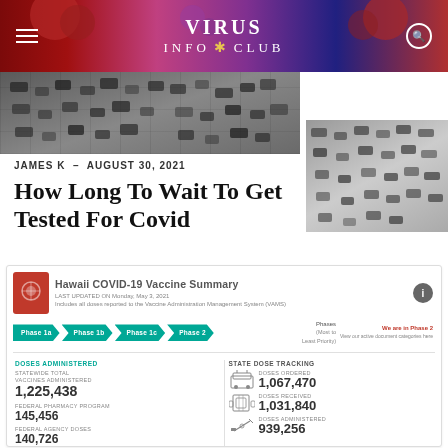VIRUS INFO CLUB
[Figure (photo): Aerial view of cars lined up in a parking lot, COVID testing site]
JAMES K  –  AUGUST 30, 2021
How Long To Wait To Get Tested For Covid
[Figure (infographic): Hawaii COVID-19 Vaccine Summary infographic showing phases (Phase 1a, Phase 1b, Phase 1c, Phase 2) and vaccine statistics including: Statewide Total Vaccines Administered 1,225,438; Federal Pharmacy Program 145,456; Federal Agency Doses 140,726; Total Statewide Processed; Doses Ordered 1,067,470; Doses Received 1,031,840; Doses Administered 939,256]